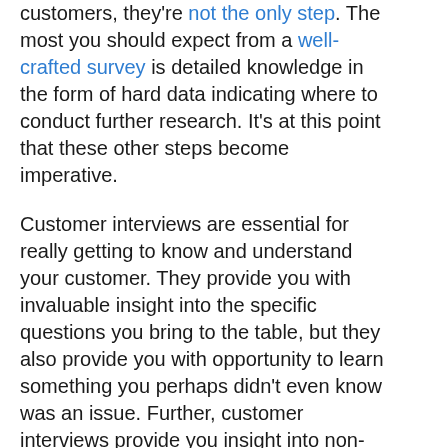customers, they're not the only step. The most you should expect from a well-crafted survey is detailed knowledge in the form of hard data indicating where to conduct further research. It's at this point that these other steps become imperative.
Customer interviews are essential for really getting to know and understand your customer. They provide you with invaluable insight into the specific questions you bring to the table, but they also provide you with opportunity to learn something you perhaps didn't even know was an issue. Further, customer interviews provide you insight into non-verbal cues which can be even more informative than the written or spoken responses captured from a survey.
Anyone who has conducted a customer interview can tell you that if you go in unprepared, the